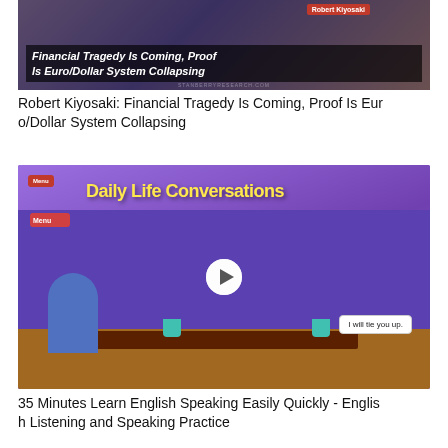[Figure (screenshot): Video thumbnail for Robert Kiyosaki financial video with title overlay: 'Financial Tragedy Is Coming, Proof Is Euro/Dollar System Collapsing'. Red badge showing 'Robert Kiyosaki'. Dark background with person visible.]
Robert Kiyosaki: Financial Tragedy Is Coming, Proof Is Euro/Dollar System Collapsing
[Figure (screenshot): Video thumbnail for 'Daily Life Conversations' animated video. Shows two cartoon characters sitting at a table in a purple/orange cafe setting. Speech bubble says 'I will tie you up.' Play button overlay visible. Yellow title text 'Daily Life Conversations'.]
35 Minutes Learn English Speaking Easily Quickly - English Listening and Speaking Practice